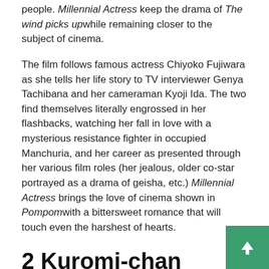people. Millennial Actress keep the drama of The wind picks up while remaining closer to the subject of cinema.
The film follows famous actress Chiyoko Fujiwara as she tells her life story to TV interviewer Genya Tachibana and her cameraman Kyoji Ida. The two find themselves literally engrossed in her flashbacks, watching her fall in love with a mysterious resistance fighter in occupied Manchuria, and her career as presented through her various film roles (her jealous, older co-star portrayed as a drama of geisha, etc.) Millennial Actress brings the love of cinema shown in Pompom with a bittersweet romance that will touch even the harshest of hearts.
2 Kuromi-chan animation runner
[Figure (illustration): Broken image placeholder labeled 'Pompo Kuromi']